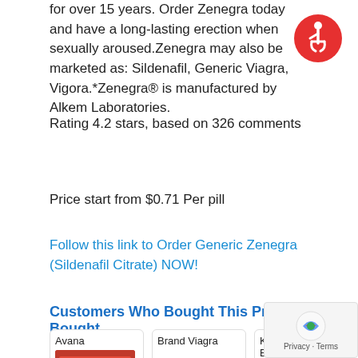for over 15 years. Order Zenegra today and have a long-lasting erection when sexually aroused.Zenegra may also be marketed as: Sildenafil, Generic Viagra, Vigora.*Zenegra® is manufactured by Alkem Laboratories.
[Figure (logo): Red circle accessibility icon with person in wheelchair silhouette]
Rating 4.2 stars, based on 326 comments
Price start from $0.71 Per pill
Follow this link to Order Generic Zenegra (Sildenafil Citrate) NOW!
Customers Who Bought This Product Also Bought
[Figure (photo): Product card: Avana - red medication box photo]
[Figure (photo): Product card: Brand Viagra - blue oval pill photo]
[Figure (photo): Product card: Kamagra Effervescent - orange tube product photo]
[Figure (other): reCAPTCHA badge with Privacy and Terms text]